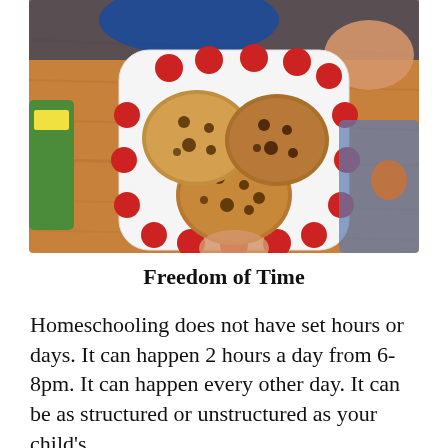[Figure (photo): Overhead view of a child holding a white square plate with red polka dots, with three large chocolate chip cookies on it, over a wooden table. A green bottle is visible on the left.]
Freedom of Time
Homeschooling does not have set hours or days. It can happen 2 hours a day from 6-8pm. It can happen every other day. It can be as structured or unstructured as your child's